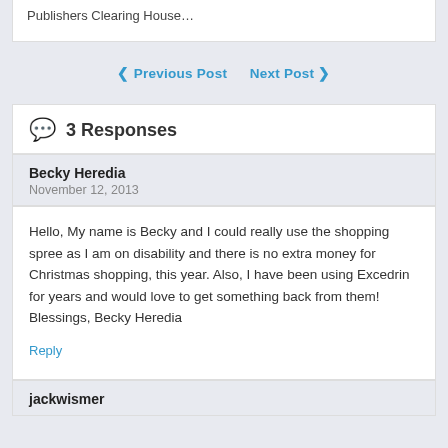Publishers Clearing House…
❮ Previous Post   Next Post ❯
💬 3 Responses
Becky Heredia
November 12, 2013
Hello, My name is Becky and I could really use the shopping spree as I am on disability and there is no extra money for Christmas shopping, this year. Also, I have been using Excedrin for years and would love to get something back from them! Blessings, Becky Heredia
Reply
jackwismer